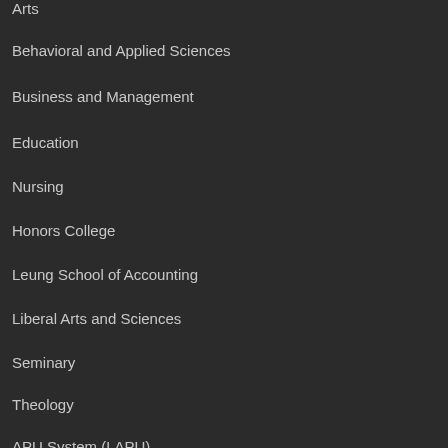Arts
Behavioral and Applied Sciences
Business and Management
Education
Nursing
Honors College
Leung School of Accounting
Liberal Arts and Sciences
Seminary
Theology
APU System (LAPU)
Quick Links